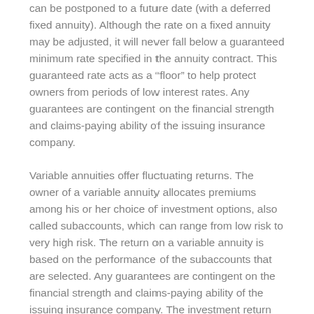can be postponed to a future date (with a deferred fixed annuity). Although the rate on a fixed annuity may be adjusted, it will never fall below a guaranteed minimum rate specified in the annuity contract. This guaranteed rate acts as a “floor” to help protect owners from periods of low interest rates. Any guarantees are contingent on the financial strength and claims-paying ability of the issuing insurance company.
Variable annuities offer fluctuating returns. The owner of a variable annuity allocates premiums among his or her choice of investment options, also called subaccounts, which can range from low risk to very high risk. The return on a variable annuity is based on the performance of the subaccounts that are selected. Any guarantees are contingent on the financial strength and claims-paying ability of the issuing insurance company. The investment return and principal value of an investment option are not guaranteed. Variable annuity subaccounts fluctuate